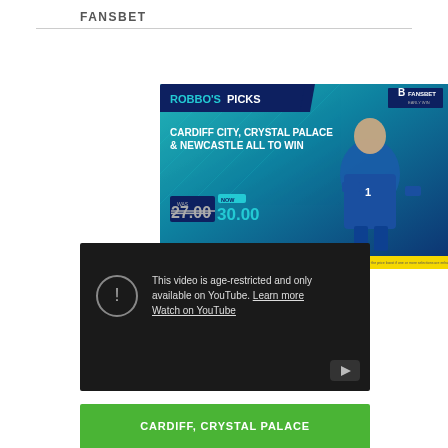FANSBET
[Figure (photo): Fansbet sports betting advertisement featuring a goalkeeper in blue kit. Text reads: ROBBO'S PICKS - CARDIFF CITY, CRYSTAL PALACE & NEWCASTLE ALL TO WIN. WAS 27.00 NOW 30.00. Yellow bar at bottom with small disclaimer text.]
[Figure (screenshot): YouTube age-restricted video embed showing dark background with circle exclamation icon. Text: 'This video is age-restricted and only available on YouTube. Learn more. Watch on YouTube.' YouTube play button icon in bottom-right corner.]
CARDIFF, CRYSTAL PALACE